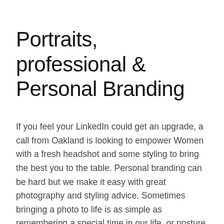Portraits, professional & Personal Branding
If you feel your LinkedIn could get an upgrade, a call from Oakland is looking to empower Women with a fresh headshot and some styling to bring the best you to the table. Personal branding can be hard but we make it easy with great photography and styling advice. Sometimes bringing a photo to life is as simple as remembering a special time in our life, or posture and correct posing. What ever is needed we help with techniques to